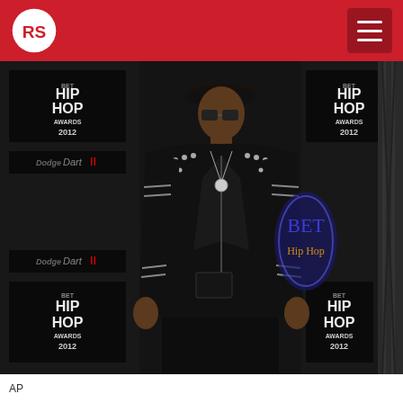RS logo and navigation header with red background
[Figure (photo): A man wearing a studded black leather motorcycle jacket, black hat, glasses, and a pendant necklace posing on a red carpet at the BET Hip Hop Awards 2012. The backdrop shows repeated 'BET Hip Hop Awards 2012' and 'Dart II' branding logos.]
AP